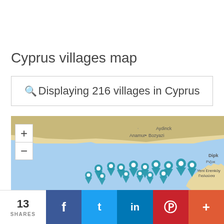Cyprus villages map
Displaying 216 villages in Cyprus
[Figure (map): Interactive map showing Cyprus with village location pins. Visible labels include Anamur, Bozyazi, Aydinck (top), Dipk, Pizok (right edge), Yeni Erenköy, Γιαλούσα (bottom right). Multiple blue teardrop map markers clustered at the bottom of the map. Zoom in (+) and zoom out (-) controls visible on the left.]
13 SHARES
f
t
in
p
+